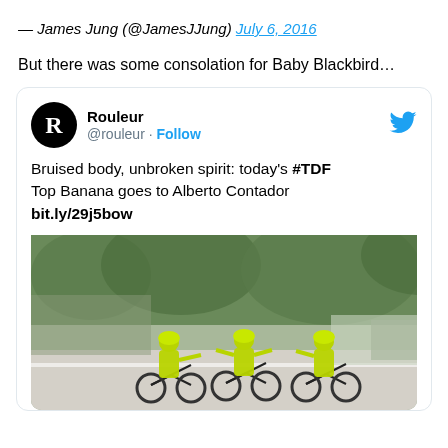— James Jung (@JamesJJung) July 6, 2016
But there was some consolation for Baby Blackbird…
[Figure (screenshot): Embedded tweet from @rouleur with text: 'Bruised body, unbroken spirit: today's #TDF Top Banana goes to Alberto Contador bit.ly/29j5bow' and a photo of cyclists in green jerseys riding together on a road.]